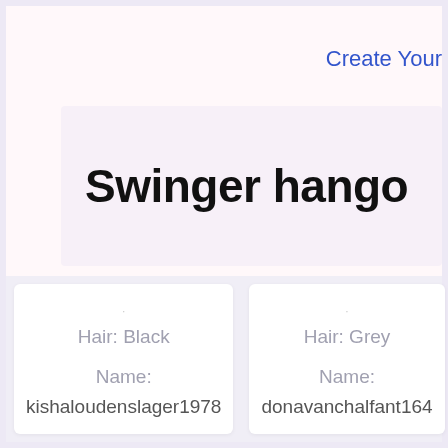Create Your
Swinger hango
Hair: Black
Name:
kishaloudenslager1978
Hair: Grey
Name:
donavanchalfant164